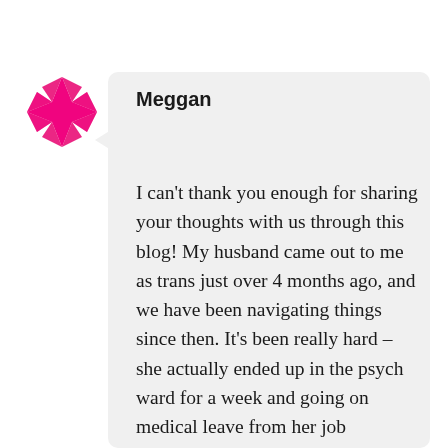[Figure (logo): Pink geometric star/snowflake pattern logo avatar for Meggan]
Meggan
I can’t thank you enough for sharing your thoughts with us through this blog! My husband came out to me as trans just over 4 months ago, and we have been navigating things since then. It’s been really hard – she actually ended up in the psych ward for a week and going on medical leave from her job